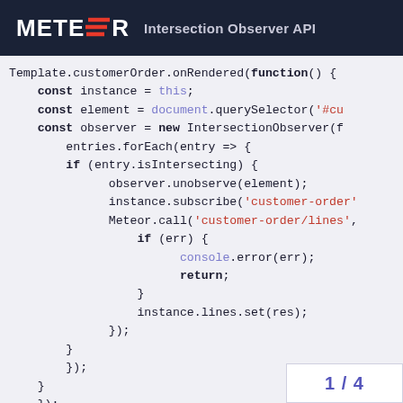METEOR  Intersection Observer API
[Figure (screenshot): Code snippet showing Template.customerOrder.onRendered function with IntersectionObserver usage in JavaScript/Meteor framework]
1 / 4